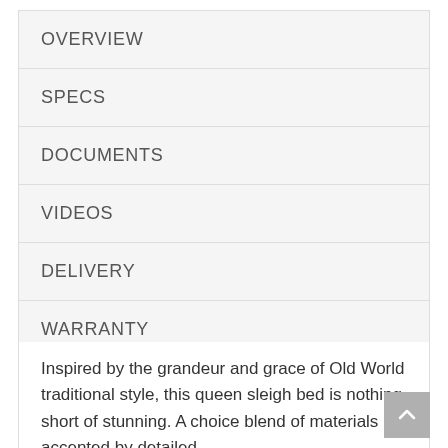OVERVIEW
SPECS
DOCUMENTS
VIDEOS
DELIVERY
WARRANTY
Inspired by the grandeur and grace of Old World traditional style, this queen sleigh bed is nothing short of stunning. A choice blend of materials is accented by detailed